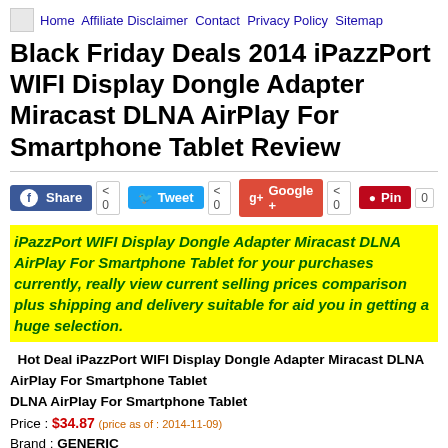Home Affiliate Disclaimer Contact Privacy Policy Sitemap
Black Friday Deals 2014 iPazzPort WIFI Display Dongle Adapter Miracast DLNA AirPlay For Smartphone Tablet Review
[Figure (other): Social sharing buttons: Share (Facebook) 0, Tweet (Twitter) 0, Google+ 0, Pin (Pinterest) 0]
iPazzPort WIFI Display Dongle Adapter Miracast DLNA AirPlay For Smartphone Tablet for your purchases currently, really view current selling prices comparison plus shipping and delivery suitable for aid you in getting a huge selection.
Hot Deal iPazzPort WIFI Display Dongle Adapter Miracast DLNA AirPlay For Smartphone Tablet
Price : $34.87 (price as of : 2014-11-09)
Brand : GENERIC
Merchant : Newegg.com
Product ID : c9476a0b5580a4531a24d27f4a8c50e4